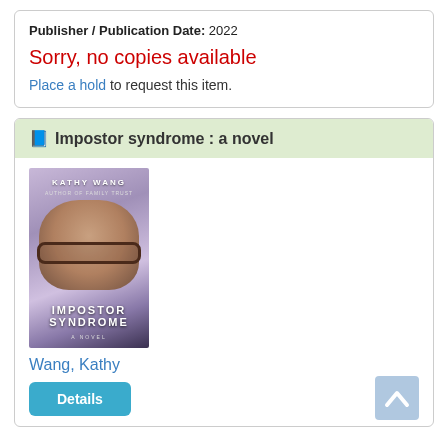Publisher / Publication Date: 2022
Sorry, no copies available
Place a hold to request this item.
📘 Impostor syndrome : a novel
[Figure (photo): Book cover of Impostor Syndrome by Kathy Wang, showing a woman with glasses and the title text overlaid]
Wang, Kathy
Details